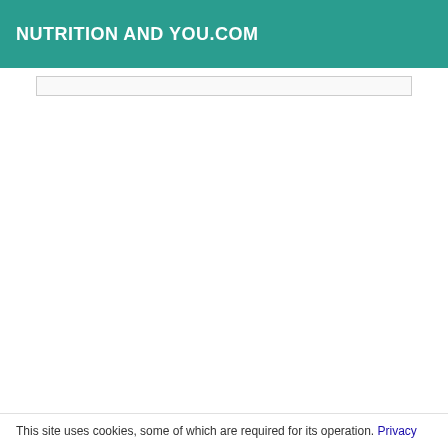NUTRITION AND YOU.COM
This site uses cookies, some of which are required for its operation. Privacy